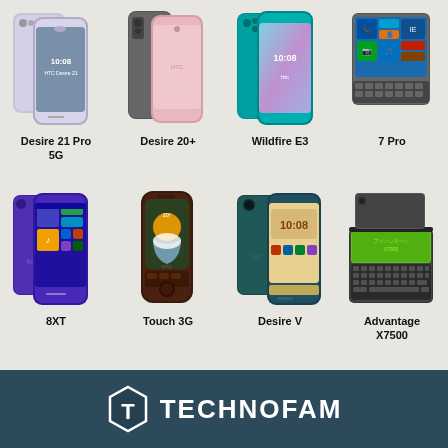[Figure (photo): Grid of 8 HTC smartphones: Desire 21 Pro 5G, Desire 20+, Wildfire E3, 7 Pro, 8XT, Touch 3G, Desire V, Advantage X7500]
Desire 21 Pro 5G
Desire 20+
Wildfire E3
7 Pro
8XT
Touch 3G
Desire V
Advantage X7500
TECHNOFAM